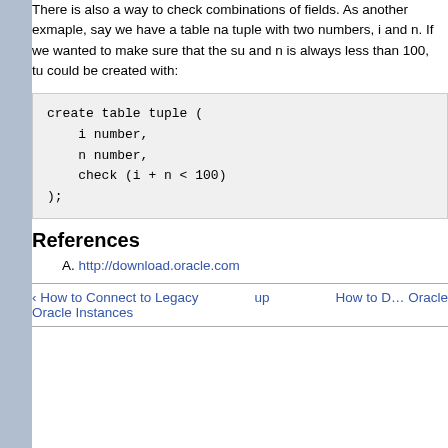There is also a way to check combinations of fields. As another exmaple, say we have a table named tuple with two numbers, i and n. If we wanted to make sure that the sum of i and n is always less than 100, tuple could be created with:
[Figure (screenshot): Code block showing SQL: create table tuple (i number, n number, check (i + n < 100));]
References
A. http://download.oracle.com...
‹ How to Connect to Legacy Oracle Instances   up   How to D... Oracle